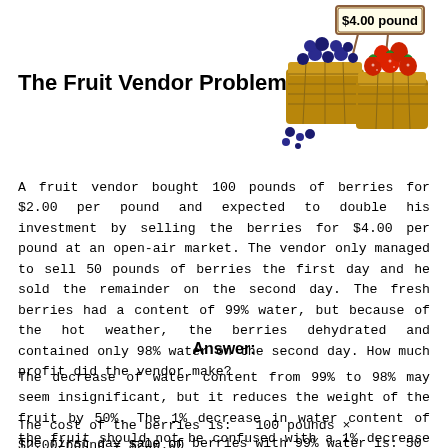[Figure (illustration): Illustration of two baskets of berries (blueberries and strawberries) with a price sign reading $4.00 pound]
The Fruit Vendor Problem
A fruit vendor bought 100 pounds of berries for $2.00 per pound and expected to double his investment by selling the berries for $4.00 per pound at an open-air market. The vendor only managed to sell 50 pounds of berries the first day and he sold the remainder on the second day. The fresh berries had a content of 99% water, but because of the hot weather, the berries dehydrated and contained only 98% water on the second day. How much profit did the vendor make?
Answer:
The decrease of water content from 99% to 98% may seem insignificant, but it reduces the weight of the fruit by 50%. The 1% decrease in water content of the fruit should not be confused with a 1% decrease of the total amount of water, which would indeed be small.
The cost of the berries is:   100 pounds × $2.00/pound = $200.00
The first day sale of berries with 99% water is: 50 pounds × $4.00/pound